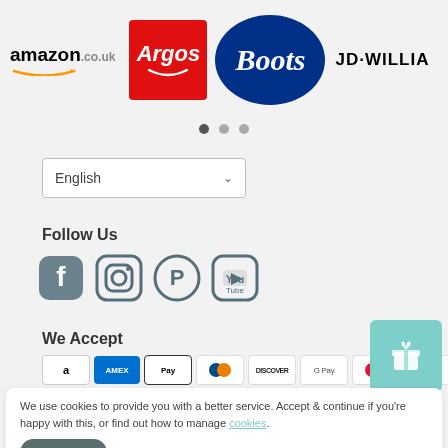[Figure (logo): Row of retailer logos: amazon.co.uk, Argos (red), Boots (blue oval), JD WILLIA...]
[Figure (infographic): Carousel pagination dots: three circles, first filled]
[Figure (infographic): Language selector dropdown showing English with chevron]
Follow Us
[Figure (infographic): Social media icons: Facebook, Instagram, Pinterest, YouTube]
We Accept
[Figure (infographic): Payment method icons: Amazon Pay, Amex, Apple Pay, Diners, Discover, Google Pay, Maestro, Mastercard]
[Figure (infographic): Teal gift/loyalty button top right]
We use cookies to provide you with a better service. Accept & continue if you're happy with this, or find out how to manage cookies.
Accept
Powered by Shopify